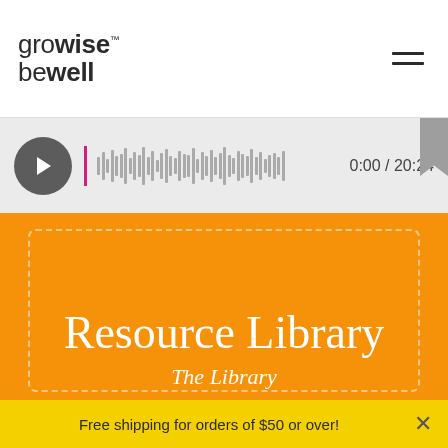grow wise be well™
[Figure (screenshot): Audio player bar showing play button, waveform, and time 0:00 / 20:24]
Resource Library
The Library
Free shipping for orders of $50 or over!